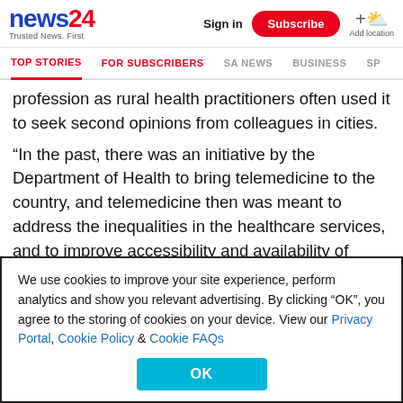news24 Trusted News. First | Sign in | Subscribe | Add location
TOP STORIES | FOR SUBSCRIBERS | SA NEWS | BUSINESS | SP
profession as rural health practitioners often used it to seek second opinions from colleagues in cities.
“In the past, there was an initiative by the Department of Health to bring telemedicine to the country, and telemedicine then was meant to address the inequalities in the healthcare services, and to improve accessibility and availability of healthcare and specialised healthcare services in remote and under-resourced areas.” Mathve
We use cookies to improve your site experience, perform analytics and show you relevant advertising. By clicking “OK”, you agree to the storing of cookies on your device. View our Privacy Portal, Cookie Policy & Cookie FAQs
OK